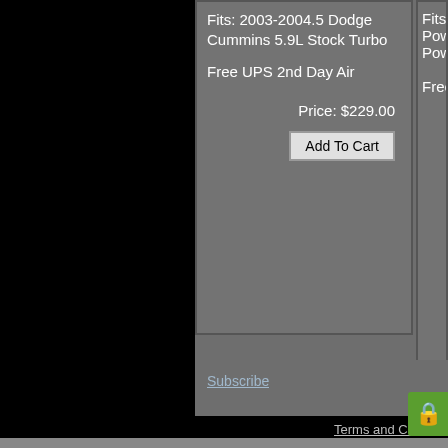Fits: 2003-2004.5 Dodge Cummins 5.9L Stock Turbo

Free UPS 2nd Day Air

Price: $229.00
Add To Cart
Fits: 2003-2004.5 Dodge Powerstroke Powerm...
Free UPS...
Subscribe
Terms and Conditions